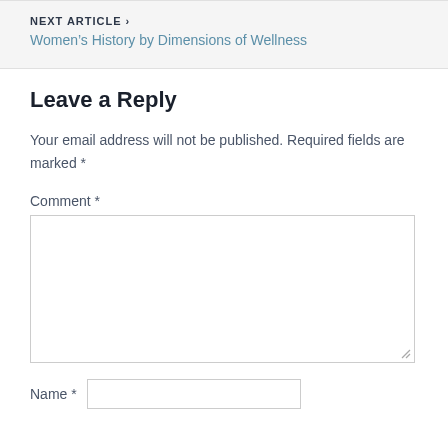NEXT ARTICLE ›
Women's History by Dimensions of Wellness
Leave a Reply
Your email address will not be published. Required fields are marked *
Comment *
Name *